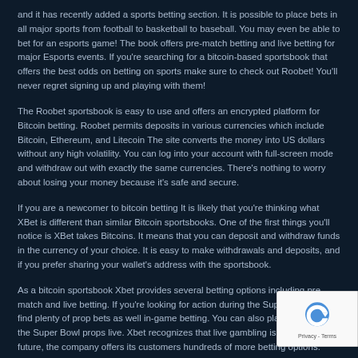and it has recently added a sports betting section. It is possible to place bets in all major sports from football to basketball to baseball. You may even be able to bet for an esports game! The book offers pre-match betting and live betting for major Esports events. If you're searching for a bitcoin-based sportsbook that offers the best odds on betting on sports make sure to check out Roobet! You'll never regret signing up and playing with them!
The Roobet sportsbook is easy to use and offers an encrypted platform for Bitcoin betting. Roobet permits deposits in various currencies which include Bitcoin, Ethereum, and Litecoin The site converts the money into US dollars without any high volatility. You can log into your account with full-screen mode and withdraw out with exactly the same currencies. There's nothing to worry about losing your money because it's safe and secure.
If you are a newcomer to bitcoin betting It is likely that you're thinking what XBet is different than similar Bitcoin sportsbooks. One of the first things you'll notice is XBet takes Bitcoins. It means that you can deposit and withdraw funds in the currency of your choice. It is easy to make withdrawals and deposits, and if you prefer sharing your wallet's address with the sportsbook.
As a bitcoin sportsbook Xbet provides several betting options including pre-match and live betting. If you're looking for action during the Super Bowl, you'll find plenty of prop bets as well in-game betting. You can also place bets with the Bowl props live. Xbet recognizes that live gambling is the trend of the future, and the company offers its customers hundreds of more betting options.